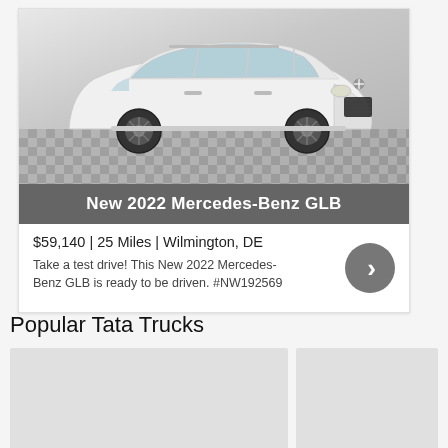[Figure (photo): White Mercedes-Benz GLB SUV on checkered floor showroom background]
New 2022 Mercedes-Benz GLB
$59,140 | 25 Miles | Wilmington, DE
Take a test drive! This New 2022 Mercedes-Benz GLB is ready to be driven. #NW192569
Popular Tata Trucks
[Figure (photo): Placeholder image for Tata truck listing (left)]
[Figure (photo): Placeholder image for Tata truck listing (right)]